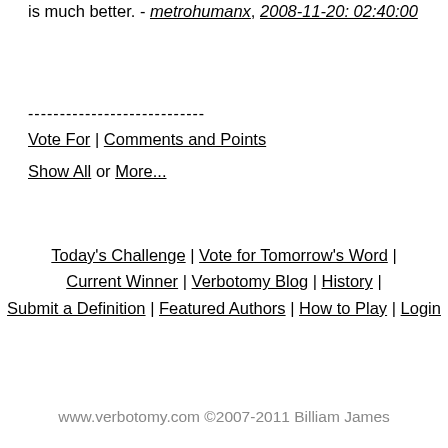is much better. - metrohumanx, 2008-11-20: 02:40:00
----------------------------
Vote For | Comments and Points
Show All or More...
Today's Challenge | Vote for Tomorrow's Word | Current Winner | Verbotomy Blog | History | Submit a Definition | Featured Authors | How to Play | Login
www.verbotomy.com ©2007-2011 Billiam James